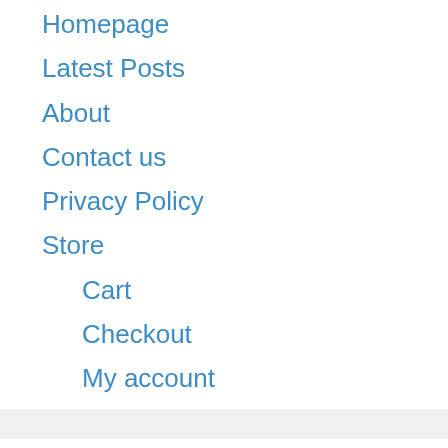Homepage
Latest Posts
About
Contact us
Privacy Policy
Store
Cart
Checkout
My account
Sponsor
-PCB Manufacturing: